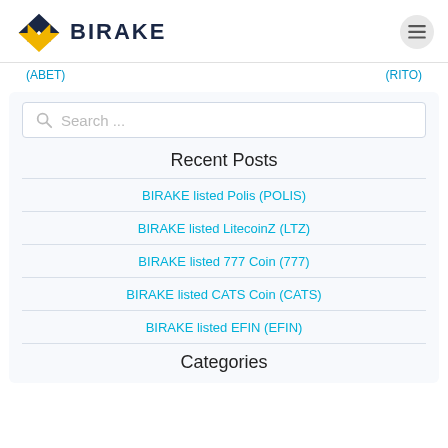BIRAKE
(ABET) (RITO)
Search ...
Recent Posts
BIRAKE listed Polis (POLIS)
BIRAKE listed LitecoinZ (LTZ)
BIRAKE listed 777 Coin (777)
BIRAKE listed CATS Coin (CATS)
BIRAKE listed EFIN (EFIN)
Categories